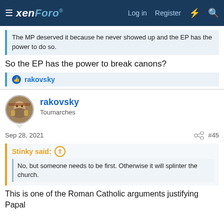xenForo — Log in  Register
The MP deserved it because he never showed up and the EP has the power to do so.
So the EP has the power to break canons?
rakovsky
rakovsky
Toumarches
Sep 28, 2021  #45
Stinky said:
No, but someone needs to be first. Otherwise it will splinter the church.
This is one of the Roman Catholic arguments justifying Papal